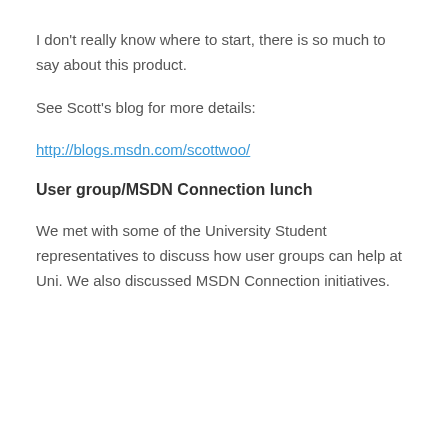I don’t really know where to start, there is so much to say about this product.
See Scott’s blog for more details:
http://blogs.msdn.com/scottwoo/
User group/MSDN Connection lunch
We met with some of the University Student representatives to discuss how user groups can help at Uni. We also discussed MSDN Connection initiatives.